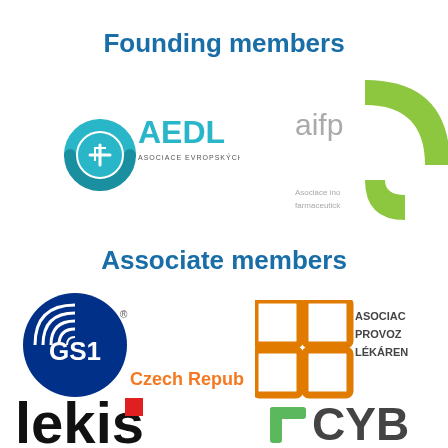Founding members
[Figure (logo): AEDL logo - Asociace evropských distributorů léčiv, teal circular molecule icon with plus sign]
[Figure (logo): aifp logo - Asociace inovativního farmaceutického průmyslu, green curved shape]
Associate members
[Figure (logo): GS1 Czech Republic logo - dark blue circular concentric lines with GS1 text, orange Czech Republic text]
[Figure (logo): Asociace provozovatelů lékáren logo - orange cross/plus square icon with text]
[Figure (logo): Lekis logo - black bold text]
[Figure (logo): CYBA logo - partial, green plus icon with CYBA text]